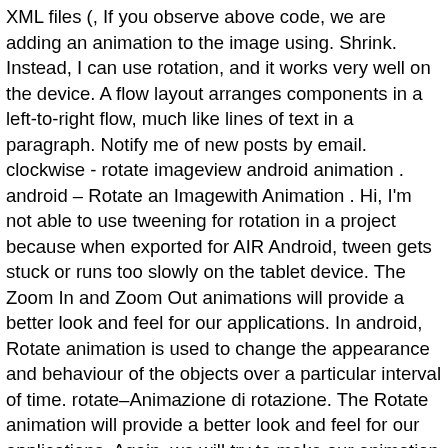XML files (, If you observe above code, we are adding an animation to the image using. Shrink. Instead, I can use rotation, and it works very well on the device. A flow layout arranges components in a left-to-right flow, much like lines of text in a paragraph. Notify me of new posts by email. clockwise - rotate imageview android animation . android – Rotate an Imagewith Animation . Hi, I'm not able to use tweening for rotation in a project because when exported for AIR Android, tween gets stuck or runs too slowly on the tablet device. The Zoom In and Zoom Out animations will provide a better look and feel for our applications. In android, Rotate animation is used to change the appearance and behaviour of the objects over a particular interval of time. rotate–Animazione di rotazione. The Rotate animation will provide a better look and feel for our applications. Again, we will try to make our animation in sync with the bottom sheet's sliding effect. Once we are done with creation of required animation XML files, we need to load those animation files using different properties. I create planets around sun to rotate and I need one planet t rotate anti clockwise and my problem begins. Following are frequently asked JIRA testing interview questions in for freshers as well as experienced QA professionals. Following is the example of implementing a rotate animations to rotate images in clockwise or anti clockwise on button click in android applications.